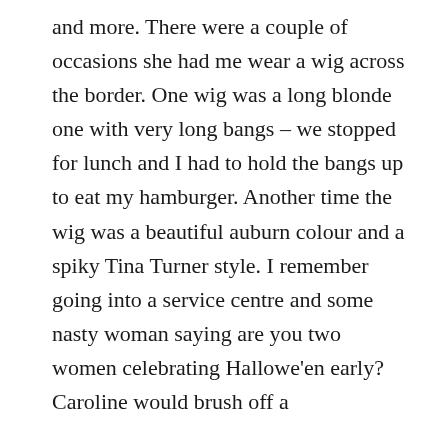and more. There were a couple of occasions she had me wear a wig across the border. One wig was a long blonde one with very long bangs – we stopped for lunch and I had to hold the bangs up to eat my hamburger. Another time the wig was a beautiful auburn colour and a spiky Tina Turner style. I remember going into a service centre and some nasty woman saying are you two women celebrating Hallowe'en early? Caroline would brush off a